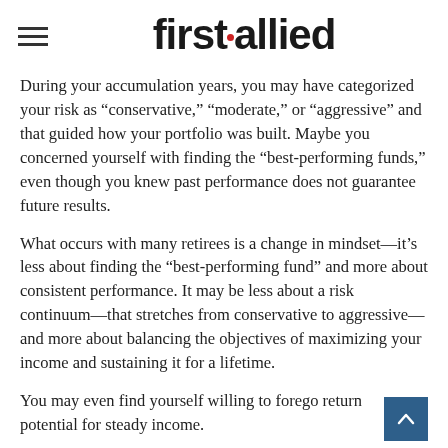first allied
During your accumulation years, you may have categorized your risk as “conservative,” “moderate,” or “aggressive” and that guided how your portfolio was built. Maybe you concerned yourself with finding the “best-performing funds,” even though you knew past performance does not guarantee future results.
What occurs with many retirees is a change in mindset—it’s less about finding the “best-performing fund” and more about consistent performance. It may be less about a risk continuum—that stretches from conservative to aggressive—and more about balancing the objectives of maximizing your income and sustaining it for a lifetime.
You may even find yourself willing to forego return potential for steady income.
As a retiree, you might be more concerned with